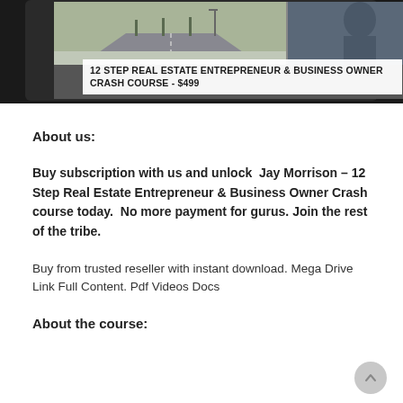[Figure (screenshot): Screenshot of a tablet/device showing a real estate course titled '12 STEP REAL ESTATE ENTREPRENEUR & BUSINESS OWNER CRASH COURSE - $499'. The screen shows a split image of a road scene and a person, with the course title in a white banner overlay at the bottom of the screen.]
About us:
Buy subscription with us and unlock  Jay Morrison – 12 Step Real Estate Entrepreneur & Business Owner Crash course today.  No more payment for gurus. Join the rest of the tribe.
Buy from trusted reseller with instant download. Mega Drive Link Full Content. Pdf Videos Docs
About the course: